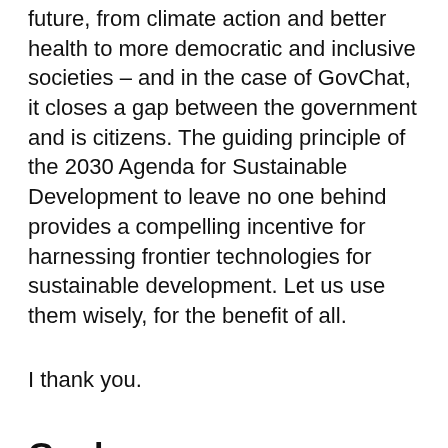future, from climate action and better health to more democratic and inclusive societies – and in the case of GovChat, it closes a gap between the government and is citizens. The guiding principle of the 2030 Agenda for Sustainable Development to leave no one behind provides a compelling incentive for harnessing frontier technologies for sustainable development. Let us use them wisely, for the benefit of all.
I thank you.
Goals we are supporting through this initiative